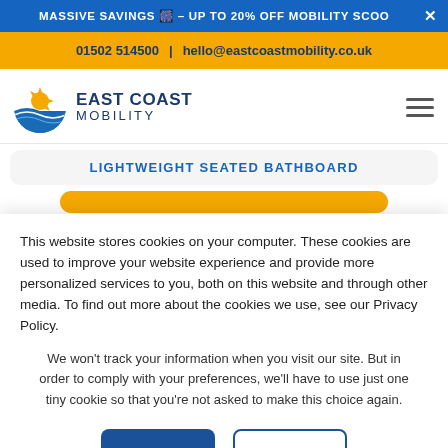MASSIVE SAVINGS 🎆 – UP TO 20% OFF MOBILITY SCOO ✕
01502 514500  |  hello@eastcoastmobility.co.uk
[Figure (logo): East Coast Mobility logo with sun/sea emblem and company name]
LIGHTWEIGHT SEATED BATHBOARD
This website stores cookies on your computer. These cookies are used to improve your website experience and provide more personalized services to you, both on this website and through other media. To find out more about the cookies we use, see our Privacy Policy.
We won't track your information when you visit our site. But in order to comply with your preferences, we'll have to use just one tiny cookie so that you're not asked to make this choice again.
Accept  Decline